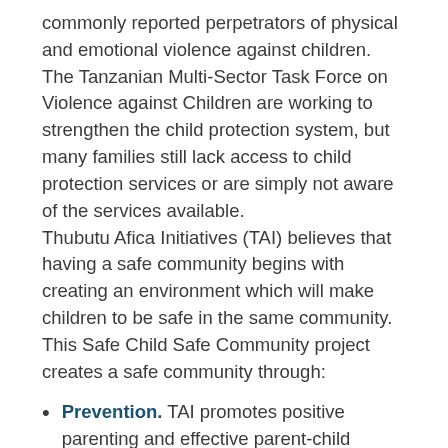commonly reported perpetrators of physical and emotional violence against children. The Tanzanian Multi-Sector Task Force on Violence against Children are working to strengthen the child protection system, but many families still lack access to child protection services or are simply not aware of the services available. Thubutu Afica Initiatives (TAI) believes that having a safe community begins with creating an environment which will make children to be safe in the same community. This Safe Child Safe Community project creates a safe community through:
Prevention. TAI promotes positive parenting and effective parent-child communication through training and awareness campaigns to parents of 0-12 year olds (mothers and